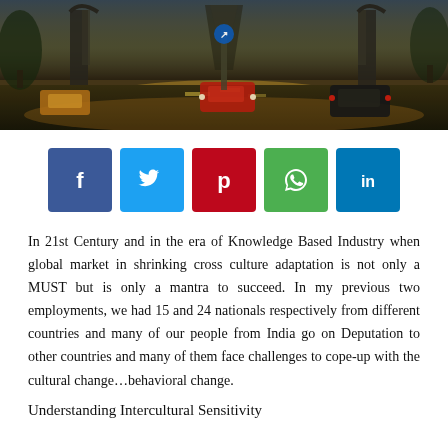[Figure (photo): A rainy city street at night with traffic and illuminated road, featuring large arch structures in the background (possibly Eiffel Tower area in Paris). Warm golden lighting reflects on wet pavement.]
[Figure (infographic): Social media share buttons: Facebook (dark blue, f), Twitter (light blue, bird), Pinterest (red, P), WhatsApp (green, phone), LinkedIn (blue, in)]
In 21st Century and in the era of Knowledge Based Industry when global market in shrinking cross culture adaptation is not only a MUST but is only a mantra to succeed. In my previous two employments, we had 15 and 24 nationals respectively from different countries and many of our people from India go on Deputation to other countries and many of them face challenges to cope-up with the cultural change…behavioral change.
Understanding Intercultural Sensitivity